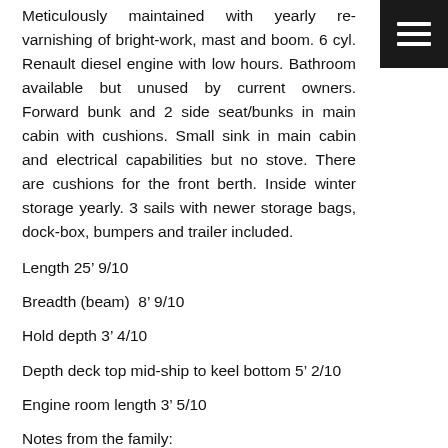Meticulously maintained with yearly re-varnishing of bright-work, mast and boom. 6 cyl. Renault diesel engine with low hours. Bathroom available but unused by current owners. Forward bunk and 2 side seat/bunks in main cabin with cushions. Small sink in main cabin and electrical capabilities but no stove. There are cushions for the front berth. Inside winter storage yearly. 3 sails with newer storage bags, dock-box, bumpers and trailer included.
Length 25’ 9/10
Breadth (beam)  8’ 9/10
Hold depth 3’ 4/10
Depth deck top mid-ship to keel bottom 5’ 2/10
Engine room length 3’ 5/10
Notes from the family: